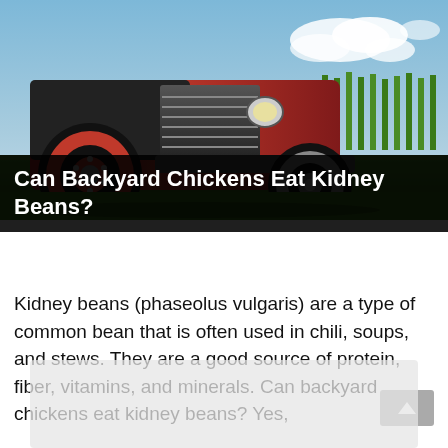[Figure (photo): Photo of a vintage red and black truck parked in a green grassy field with a bright sky in the background.]
Can Backyard Chickens Eat Kidney Beans?
Kidney beans (phaseolus vulgaris) are a type of common bean that is often used in chili, soups, and stews. They are a good source of protein, fiber, vitamins, and minerals. Can backyard chickens eat kidney beans? Yes,